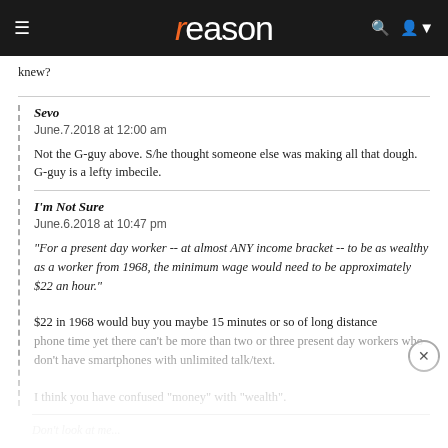reason
knew?
Sevo
June.7.2018 at 12:00 am

Not the G-guy above. S/he thought someone else was making all that dough.
G-guy is a lefty imbecile.
I'm Not Sure
June.6.2018 at 10:47 pm

"For a present day worker -- at almost ANY income bracket -- to be as wealthy as a worker from 1968, the minimum wage would need to be approximately $22 an hour."

$22 in 1968 would buy you maybe 15 minutes or so of long distance phone time yet there can't be more than two or three present day workers who don't have smartphones with unlimited talk/text.

I think you have confused "money" with "wealth".